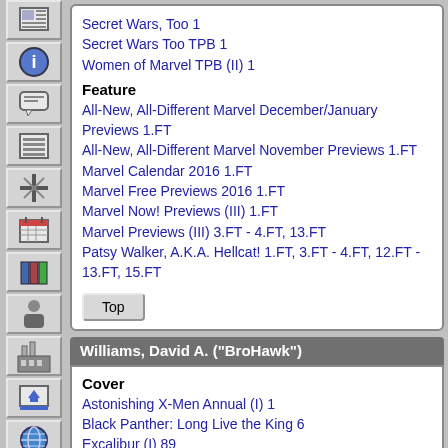Secret Wars, Too 1
Secret Wars Too TPB 1
Women of Marvel TPB (II) 1
Feature
All-New, All-Different Marvel December/January Previews 1.FT
All-New, All-Different Marvel November Previews 1.FT
Marvel Calendar 2016 1.FT
Marvel Free Previews 2016 1.FT
Marvel Now! Previews (III) 1.FT
Marvel Previews (III) 3.FT - 4.FT, 13.FT
Patsy Walker, A.K.A. Hellcat! 1.FT, 3.FT - 4.FT, 12.FT - 13.FT, 15.FT
Williams, David A. ("BroHawk")
Cover
Astonishing X-Men Annual (I) 1
Black Panther: Long Live the King 6
Excalibur (I) 89
Fantastic Four Giant-Size Adventures 1
Hulk and Power Pack 1 - 4
Hulk and Power Pack TPB Digest: Pack Smash! 1
Incredible Hercules 127 - 131
Jean Grey 1